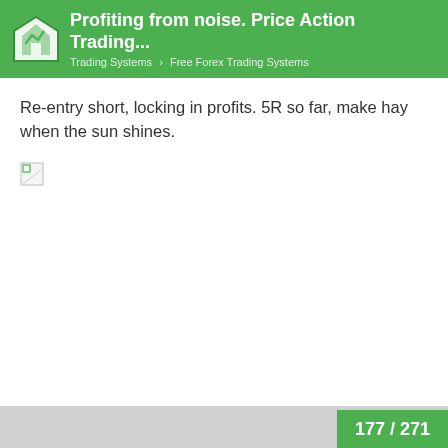Profiting from noise. Price Action Trading... | Trading Systems > Free Forex Trading Systems
Re-entry short, locking in profits. 5R so far, make hay when the sun shines.
[Figure (other): Broken/missing image placeholder]
177 / 271